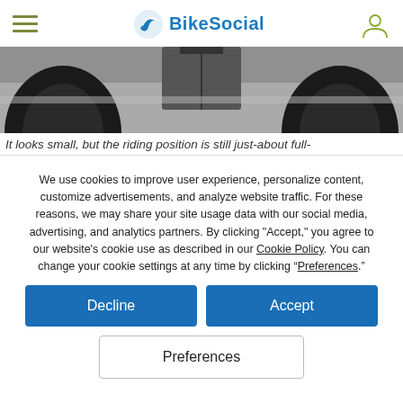BikeSocial
[Figure (photo): Close-up photo of motorcycle wheels/undercarriage from below, showing two black wheels on asphalt ground.]
It looks small, but the riding position is still just-about full-
We use cookies to improve user experience, personalize content, customize advertisements, and analyze website traffic. For these reasons, we may share your site usage data with our social media, advertising, and analytics partners. By clicking "Accept," you agree to our website's cookie use as described in our Cookie Policy. You can change your cookie settings at any time by clicking “Preferences.”